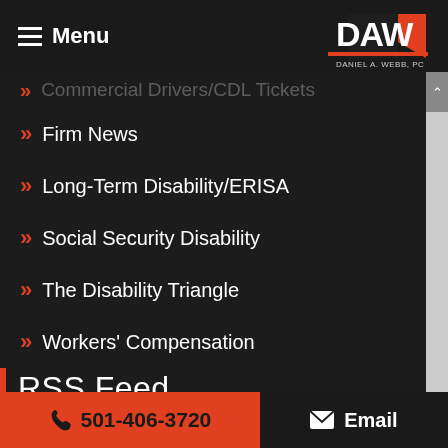Menu | DAW Daniel A. Webb, PC
>> Commercial Drivers/CDL Tickets
>> Firm News
>> Long-Term Disability/ERISA
>> Social Security Disability
>> The Disability Triangle
>> Workers' Compensation
RSS Feed
Subscribe To This Blog's Feed
501-406-3720 | Email